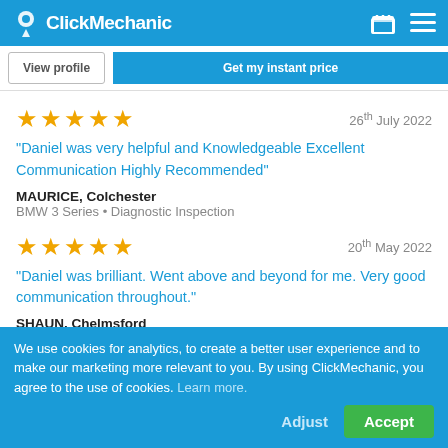ClickMechanic
View profile | Get my instant price
26th July 2022 — ★★★★★
"Daniel was very helpful and Knowledgeable Excellent Communication Highly Recommended"
MAURICE, Colchester
BMW 3 Series • Diagnostic Inspection
20th May 2022 — ★★★★★
"Daniel was brilliant. Went above and beyond for me. Very good communication throughout."
SHAUN, Chelmsford
We use cookies for analytics, to create a better user experience and to make our marketing more relevant to you. By using ClickMechanic, you agree to the use of cookies. Learn more. Adjust | Accept